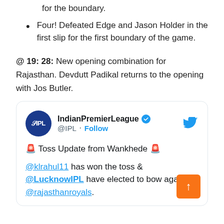for the boundary.
Four! Defeated Edge and Jason Holder in the first slip for the first boundary of the game.
@ 19: 28: New opening combination for Rajasthan. Devdutt Padikal returns to the opening with Jos Butler.
[Figure (screenshot): Tweet from @IPL (IndianPremierLeague verified account) with Twitter Follow button and bird logo. Tweet text: '🚨 Toss Update from Wankhede 🚨 @klrahul11 has won the toss & @LucknowIPL have elected to bowl against @rajasthanroyals.']